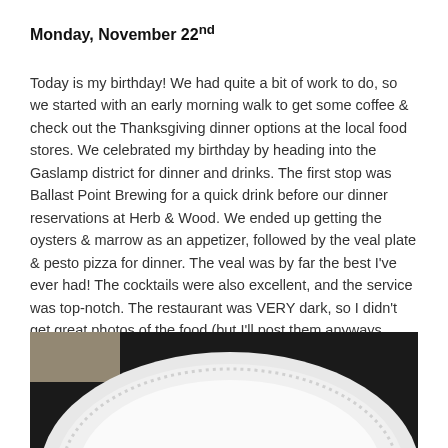Monday, November 22nd
Today is my birthday! We had quite a bit of work to do, so we started with an early morning walk to get some coffee & check out the Thanksgiving dinner options at the local food stores. We celebrated my birthday by heading into the Gaslamp district for dinner and drinks. The first stop was Ballast Point Brewing for a quick drink before our dinner reservations at Herb & Wood. We ended up getting the oysters & marrow as an appetizer, followed by the veal plate & pesto pizza for dinner. The veal was by far the best I've ever had! The cocktails were also excellent, and the service was top-notch. The restaurant was VERY dark, so I didn't get great photos of the food (but I'll post them anyways, because I have no shame).
[Figure (photo): Photo of a white decorative plate on a dark background, partially visible at bottom of page]